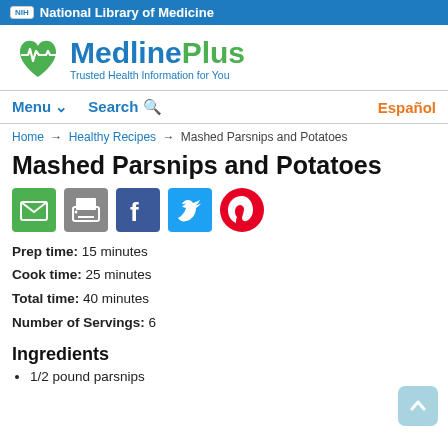NIH National Library of Medicine
[Figure (logo): MedlinePlus logo with green heart and EKG icon, text 'MedlinePlus Trusted Health Information for You']
Menu ∨   Search 🔍   Español
Home → Healthy Recipes → Mashed Parsnips and Potatoes
Mashed Parsnips and Potatoes
[Figure (illustration): Social share icons: email (green), print (gray), Facebook (blue), Twitter (light blue), Pinterest (red)]
Prep time: 15 minutes
Cook time: 25 minutes
Total time: 40 minutes
Number of Servings: 6
Ingredients
1/2 pound parsnips